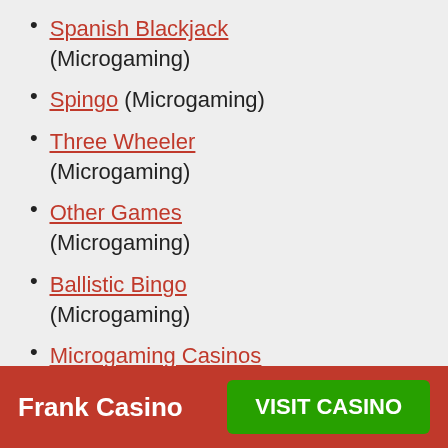Spanish Blackjack (Microgaming)
Spingo (Microgaming)
Three Wheeler (Microgaming)
Other Games (Microgaming)
Ballistic Bingo (Microgaming)
Microgaming Casinos (Microgaming)
Bingo (Microgaming)
Baccarat (Net Entertainment)
Caribbean Stud (Net Entertainment)
Frank Casino — VISIT CASINO